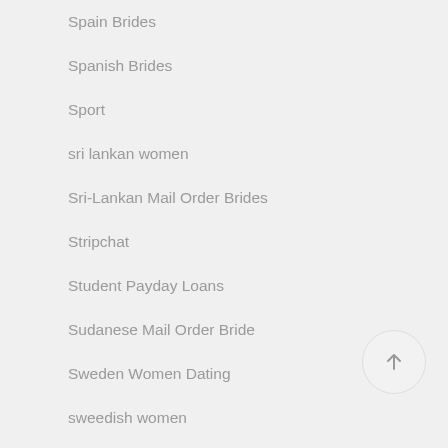Spain Brides
Spanish Brides
Sport
sri lankan women
Sri-Lankan Mail Order Brides
Stripchat
Student Payday Loans
Sudanese Mail Order Bride
Sweden Women Dating
sweedish women
syrian brides